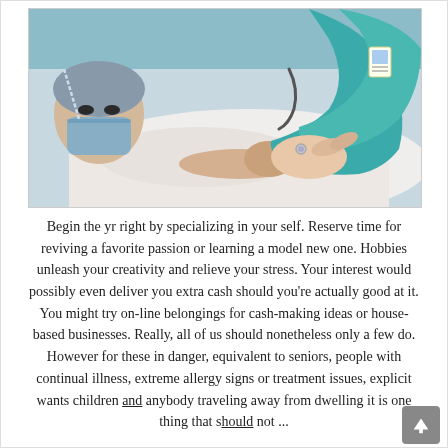[Figure (photo): A patient lying in a hospital bed wearing a surgical mask and gown, with a healthcare worker in teal/green scrubs holding the patient's hand in a comforting gesture. A stethoscope is visible.]
Begin the yr right by specializing in your self. Reserve time for reviving a favorite passion or learning a model new one. Hobbies unleash your creativity and relieve your stress. Your interest would possibly even deliver you extra cash should you're actually good at it. You might try on-line belongings for cash-making ideas or house-based businesses. Really, all of us should nonetheless only a few do. However for these in danger, equivalent to seniors, people with continual illness, extreme allergy signs or treatment issues, explicit wants children and anybody traveling away from dwelling it is one thing that should not ...